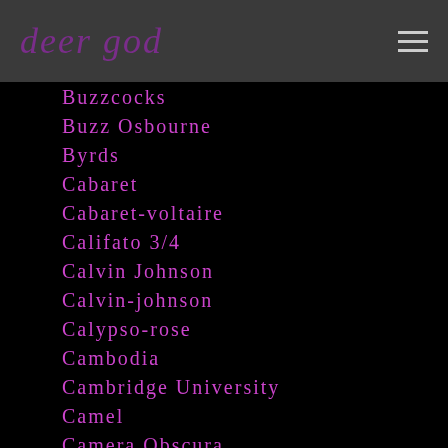deer god
Buzzcocks
Buzz Osbourne
Byrds
Cabaret
Cabaret-voltaire
Califato 3/4
Calvin Johnson
Calvin-johnson
Calypso-rose
Cambodia
Cambridge University
Camel
Camera Obscura
Cameron Crowe
Camille-theobald
Can
Canadian Authors